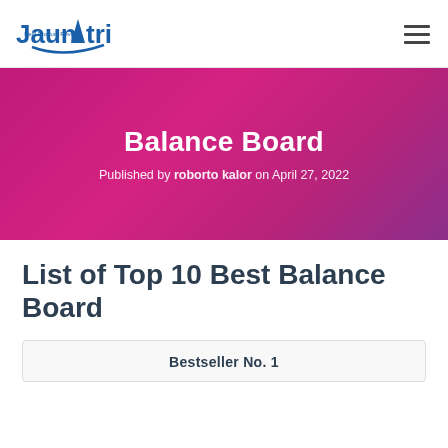Jaunatri - Best Product Review
Balance Board
Published by roborto kalor on April 27, 2022
List of Top 10 Best Balance Board
Bestseller No. 1